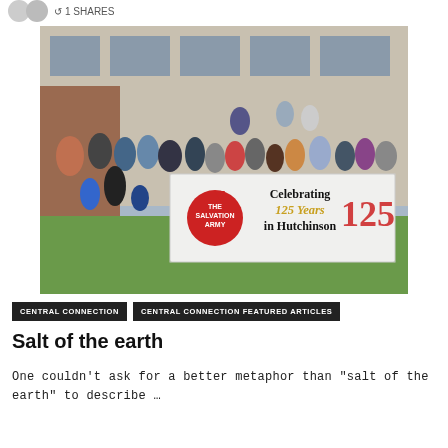1 SHARES
[Figure (photo): A large group of people posing outdoors in front of a building, holding a banner that reads 'Celebrating 125 Years in Hutchinson' with The Salvation Army logo and a decorative 125 anniversary graphic.]
CENTRAL CONNECTION   CENTRAL CONNECTION FEATURED ARTICLES
Salt of the earth
One couldn't ask for a better metaphor than "salt of the earth" to describe …